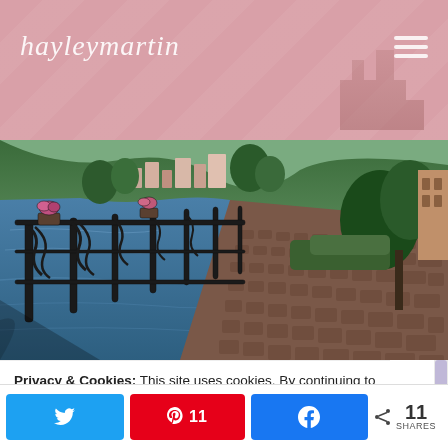hayleymartin
[Figure (photo): A lakeside cobblestone promenade with ornate black iron railing on the left, calm blue lake water, and a hillside town with buildings and lush green trees in the background. Palm trees and manicured hedges line the right side of the walkway.]
Privacy & Cookies: This site uses cookies. By continuing to use this website, you agree to their use.
To find out more, including how to control cookies, see here:
Twitter share | Pinterest 11 | Facebook share | < 11 SHARES